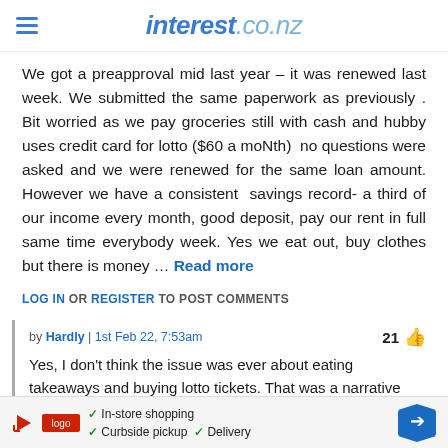interest.co.nz
We got a preapproval mid last year – it was renewed last week. We submitted the same paperwork as previously . Bit worried as we pay groceries still with cash and hubby uses credit card for lotto ($60 a moNth)  no questions were asked and we were renewed for the same loan amount. However we have a consistent  savings record- a third of our income every month, good deposit, pay our rent in full same time everybody week. Yes we eat out, buy clothes but there is money … Read more
LOG IN OR REGISTER TO POST COMMENTS
by Hardly | 1st Feb 22, 7:53am
21
Yes, I don't think the issue was ever about eating takeaways and buying lotto tickets. That was a narrative